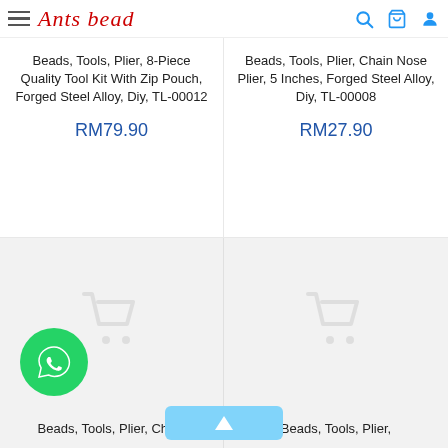Ants Bead (logo with hamburger menu and icons)
Beads, Tools, Plier, 8-Piece Quality Tool Kit With Zip Pouch, Forged Steel Alloy, Diy, TL-00012
RM79.90
Beads, Tools, Plier, Chain Nose Plier, 5 Inches, Forged Steel Alloy, Diy, TL-00008
RM27.90
[Figure (other): Shopping cart icon placeholder (light gray) in bottom-left product card]
[Figure (other): Shopping cart icon placeholder (light gray) in bottom-right product card]
[Figure (other): WhatsApp floating button (green circle with phone icon)]
Beads, Tools, Plier, Chain
Beads, Tools, Plier,